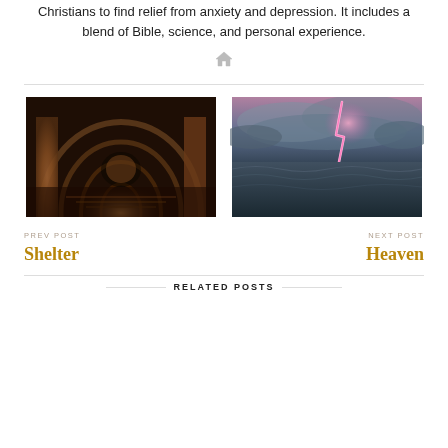Christians to find relief from anxiety and depression. It includes a blend of Bible, science, and personal experience.
[Figure (other): Small home/house icon as a decorative divider element]
[Figure (photo): Dark gothic architectural corridor with arched stone ceilings and stairs, warm amber lighting]
PREV POST
Shelter
[Figure (photo): Stormy ocean scene with pink and purple lightning bolt striking dark churning waters, dramatic sky]
NEXT POST
Heaven
RELATED POSTS